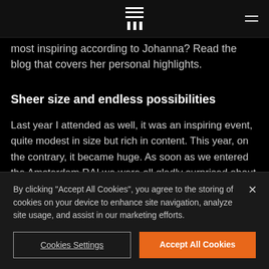[Logo / navigation bar]
most inspiring according to Johanna? Read the blog that covers her personal highlights.
Sheer size and endless possibilities
Last year I attended as well, it was an inspiring event, quite modest in size but rich in content. This year, on the contrary, it became huge. As soon as we entered the Amsterdam RAI we were all gladly surprised about the reach of the event on how well organized it was. We downloaded the app which
By clicking "Accept All Cookies", you agree to the storing of cookies on your device to enhance site navigation, analyze site usage, and assist in our marketing efforts.
Cookies Settings
Accept All Cookies